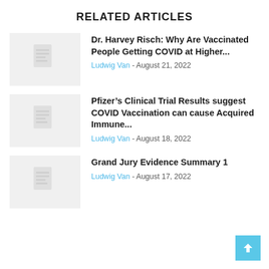RELATED ARTICLES
Dr. Harvey Risch: Why Are Vaccinated People Getting COVID at Higher... Ludwig Van - August 21, 2022
Pfizer’s Clinical Trial Results suggest COVID Vaccination can cause Acquired Immune... Ludwig Van - August 18, 2022
Grand Jury Evidence Summary 1 Ludwig Van - August 17, 2022